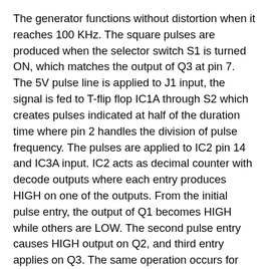The generator functions without distortion when it reaches 100 KHz. The square pulses are produced when the selector switch S1 is turned ON, which matches the output of Q3 at pin 7. The 5V pulse line is applied to J1 input, the signal is fed to T-flip flop IC1A through S2 which creates pulses indicated at half of the duration time where pin 2 handles the division of pulse frequency. The pulses are applied to IC2 pin 14 and IC3A input. IC2 acts as decimal counter with decode outputs where each entry produces HIGH on one of the outputs. From the initial pulse entry, the output of Q1 becomes HIGH while others are LOW. The second pulse entry causes HIGH output on Q2, and third entry applies on Q3. The same operation occurs for the succeeding pulse line entry, since the counter checks the number of pulses that passes the generator output.
The generator output stage is considered on levels where the driving stage of Q2 creates positive output voltage and the saturation of Q 3 in the cutoff region. Through the potentiometer, the signal is applied in the output of J2. Using the gates of IC3B-C-D, the sine wave or triangular wave can be changed to square pulses in the circuit input. The